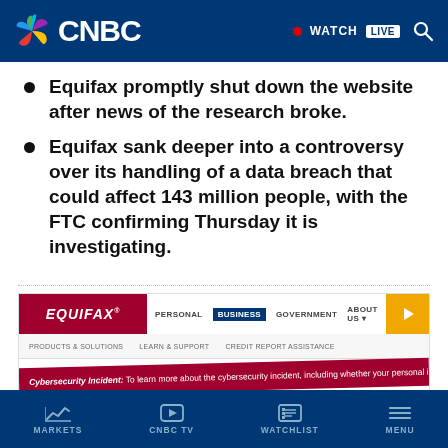[Figure (screenshot): CNBC website header with logo, WATCH LIVE button, and search icon on dark blue background]
Equifax promptly shut down the website after news of the research broke.
Equifax sank deeper into a controversy over its handling of a data breach that could affect 143 million people, with the FTC confirming Thursday it is investigating.
[Figure (screenshot): Equifax website screenshot showing navigation bar with Personal, Business, Government, About Us menu items and a security incident alert banner in red]
[Figure (screenshot): CNBC app bottom navigation bar with Markets, CNBC TV, Watchlist, and Menu icons on dark blue background]